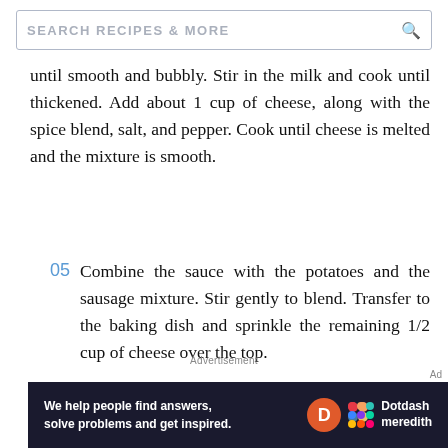SEARCH RECIPES & MORE
until smooth and bubbly. Stir in the milk and cook until thickened. Add about 1 cup of cheese, along with the spice blend, salt, and pepper. Cook until cheese is melted and the mixture is smooth.
05 Combine the sauce with the potatoes and the sausage mixture. Stir gently to blend. Transfer to the baking dish and sprinkle the remaining 1/2 cup of cheese over the top.
Advertisement
[Figure (other): Dotdash Meredith advertisement banner: 'We help people find answers, solve problems and get inspired.' with Dotdash Meredith logo]